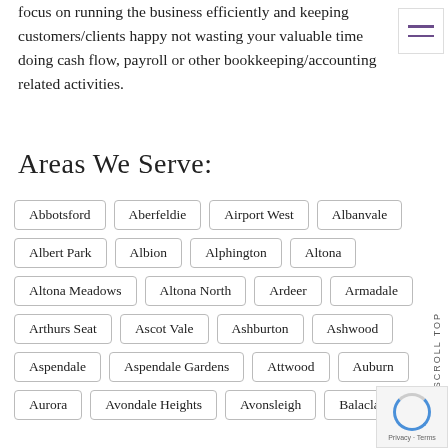focus on running the business efficiently and keeping customers/clients happy not wasting your valuable time doing cash flow, payroll or other bookkeeping/accounting related activities.
Areas We Serve:
Abbotsford
Aberfeldie
Airport West
Albanvale
Albert Park
Albion
Alphington
Altona
Altona Meadows
Altona North
Ardeer
Armadale
Arthurs Seat
Ascot Vale
Ashburton
Ashwood
Aspendale
Aspendale Gardens
Attwood
Auburn
Aurora
Avondale Heights
Avonsleigh
Balaclava